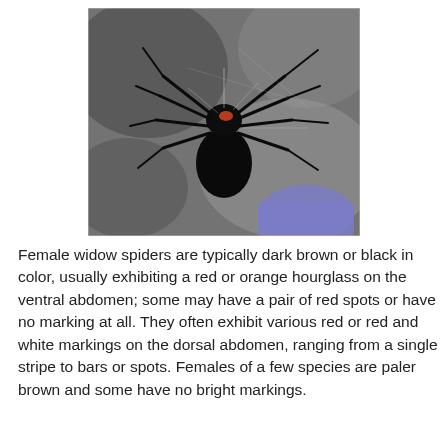[Figure (photo): A female widow spider (black widow) photographed on a web against a blurred dark background. The spider is dark/black with a small reddish marking visible near the body center. A purple/blue gloved hand or object is partially visible in the lower right corner.]
Female widow spiders are typically dark brown or black in color, usually exhibiting a red or orange hourglass on the ventral abdomen; some may have a pair of red spots or have no marking at all. They often exhibit various red or red and white markings on the dorsal abdomen, ranging from a single stripe to bars or spots. Females of a few species are paler brown and some have no bright markings.